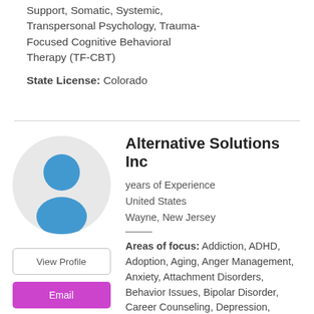Support, Somatic, Systemic, Transpersonal Psychology, Trauma-Focused Cognitive Behavioral Therapy (TF-CBT)
State License: Colorado
[Figure (illustration): Generic user avatar icon: blue circle head and blue torso/shoulders on light gray circular background]
View Profile
Email
Alternative Solutions Inc
years of Experience
United States
Wayne, New Jersey
Areas of focus: Addiction, ADHD, Adoption, Aging, Anger Management, Anxiety, Attachment Disorders, Behavior Issues, Bipolar Disorder, Career Counseling, Depression, Dissociative Disorders, Dual Diagnosis, Eating Disorders